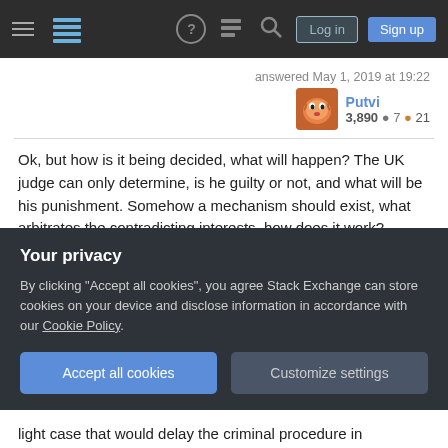Stack Exchange navigation bar with hamburger menu, logo, help, chat, search icons, Log in and Sign up buttons
answered May 1, 2019 at 19:22
Putvi 3,890 ● 7 ● 21
Ok, but how is it being decided, what will happen? The UK judge can only determine, is he guilty or not, and what will be his punishment. Somehow a mechanism should exist, what arbitrates the contradicting interests, how does it work? – Gray Sheep  May 1, 2019 at 20:14
Its not really contradicting, tbh. They would literally call
Your privacy
By clicking "Accept all cookies", you agree Stack Exchange can store cookies on your device and disclose information in accordance with our Cookie Policy.
Accept all cookies
Customize settings
light case that would delay the criminal procedure in